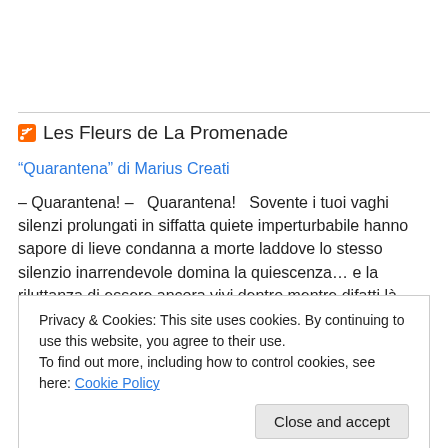Les Fleurs de La Promenade
“Quarantena” di Marius Creati
– Quarantena! –   Quarantena!   Sovente i tuoi vaghi silenzi prolungati in siffatta quiete imperturbabile hanno sapore di lieve condanna a morte laddove lo stesso silenzio inarrendevole domina la quiescenza… e la riluttanza di essere ancora vivi dentro mentre difatti là fuori si muore nel medesimo oblio quiescente del giorno e della notte laggì. [...]
Privacy & Cookies: This site uses cookies. By continuing to use this website, you agree to their use.
To find out more, including how to control cookies, see here: Cookie Policy
anni della poesia, aiutata sapientemente alle pagine di […]